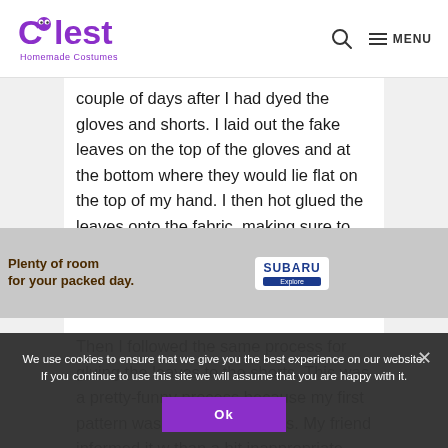Coolest Homemade Costumes — MENU
couple of days after I had dyed the gloves and shorts. I laid out the fake leaves on the top of the gloves and at the bottom where they would lie flat on the top of my hand. I then hot glued the leaves onto the fabric, making sure to alternate between top-up and top-down to create a light vs. dark green color pattern.
Then I followed the same process for gluing the leaves to the shorts. This was a pretty-funny process because my first pattern was a 'v' on the shorts. My friend informed it w than a bit inappropriate looking – although hilarious
We use cookies to ensure that we give you the best experience on our website. If you continue to use this site we will assume that you are happy with it.